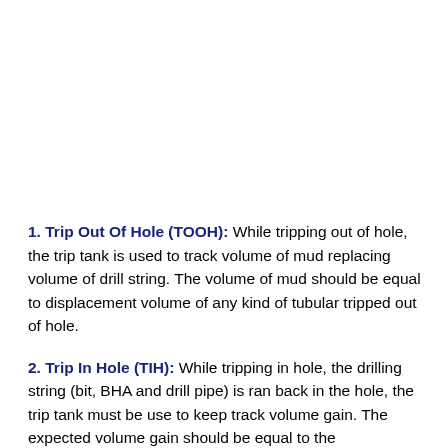1. Trip Out Of Hole (TOOH): While tripping out of hole, the trip tank is used to track volume of mud replacing volume of drill string. The volume of mud should be equal to displacement volume of any kind of tubular tripped out of hole.
2. Trip In Hole (TIH): While tripping in hole, the drilling string (bit, BHA and drill pipe) is ran back in the hole, the trip tank must be use to keep track volume gain. The expected volume gain should be equal to the displacement volume of whole...